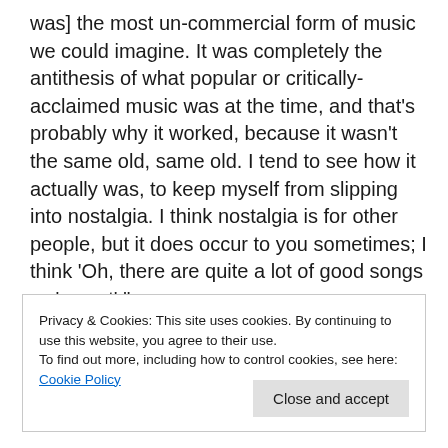was] the most un-commercial form of music we could imagine. It was completely the antithesis of what popular or critically-acclaimed music was at the time, and that's probably why it worked, because it wasn't the same old, same old. I tend to see how it actually was, to keep myself from slipping into nostalgia. I think nostalgia is for other people, but it does occur to you sometimes; I think 'Oh, there are quite a lot of good songs we've got'."
Privacy & Cookies: This site uses cookies. By continuing to use this website, you agree to their use.
To find out more, including how to control cookies, see here: Cookie Policy